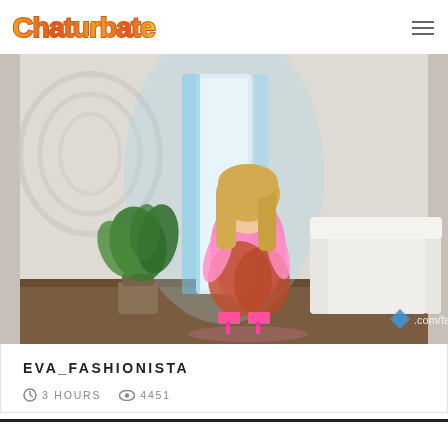Chaturbate logo and navigation menu
[Figure (photo): Livestream screenshot of a blonde woman in a pink outfit crouching in a bright white room with a plant and white chair, with neon blue accent lighting. Watermark text partially visible: .com/fas]
EVA_FASHIONISTA
3 HOURS   4451